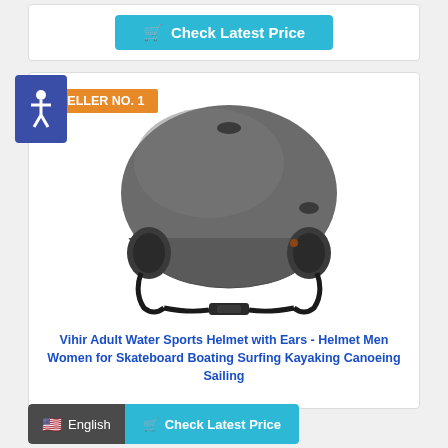[Figure (other): Teal/cyan 'Check Latest Price' button with shopping cart icon at the top of the page]
[Figure (other): Orange 'BESTSELLER NO. 1' badge overlapping the main product card]
[Figure (photo): Gray Vihir Adult Water Sports Helmet with ear protection, chin strap, viewed from the front-left angle]
Vihir Adult Water Sports Helmet with Ears - Helmet Men Women for Skateboard Boating Surfing Kayaking Canoeing Sailing
[Figure (other): Bottom bar with dark gray English language selector (US flag) and teal 'Check Latest Price' button]